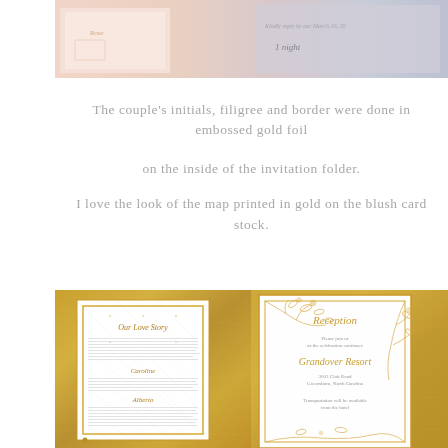[Figure (photo): Close-up of wedding invitation suite showing blush pink and white cards with gold accents, partially visible at top of page]
The couple's initials, filigree and border were done in embossed gold foil

on the inside of the invitation folder.

I love the look of the map printed in gold on the blush card stock.
[Figure (photo): Two wedding invitation cards side by side on gold glitter background. Left card shows 'Our Love Story' in gold script on white with diamond grid pattern border. Right card shows 'Reception' in gold script with gold floral/botanical illustration border, showing venue 'Grandover Resort' details.]